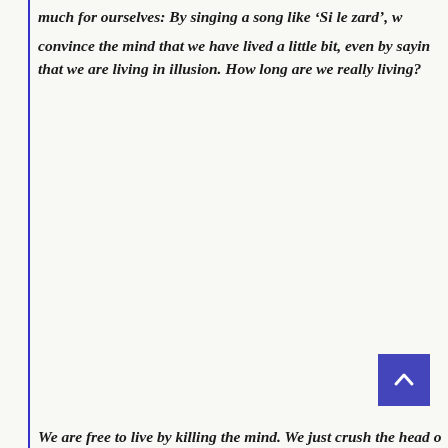much for ourselves: By singing a song like 'Si le zard', we convince the mind that we have lived a little bit, even by saying that we are living in illusion. How long are we really living?
We are free to live by killing the mind. We just crush the head o...